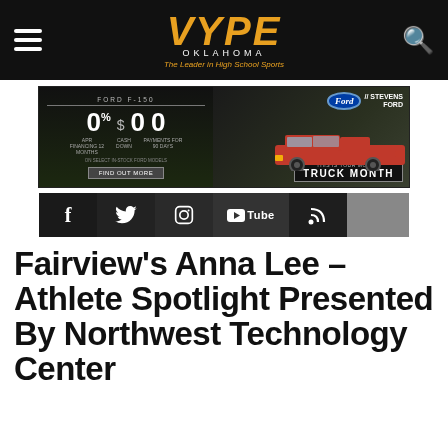VYPE OKLAHOMA — The Leader in High School Sports
[Figure (photo): Ford F-150 advertisement for Stevens Ford — Truck Month, showing 0% APR financing, $0 cash down, $0 first payments]
[Figure (infographic): Social media icon bar: Facebook, Twitter, Instagram, YouTube, RSS]
Fairview's Anna Lee – Athlete Spotlight Presented By Northwest Technology Center